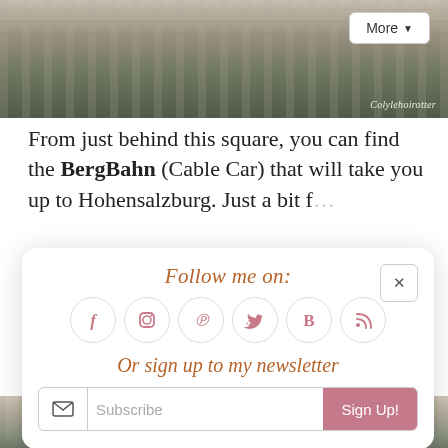[Figure (photo): Ornate stone balustrade along a waterfront, historic European architecture, partial view of the Salzach river area in Salzburg]
More ▾
From just behind this square, you can find the BergBahn (Cable Car) that will take you up to Hohensalzburg. Just a bit further on from that…
Follow me on:
[Figure (infographic): Six social media icons in pink circles: Facebook (f), Instagram, Pinterest, Twitter (bird), Bloglovin (B), RSS feed]
Or sign up to my newsletter
Subscribe  Sign Up!
[Figure (photo): Cityscape view of Salzburg rooftops with church towers and green hills in the background]